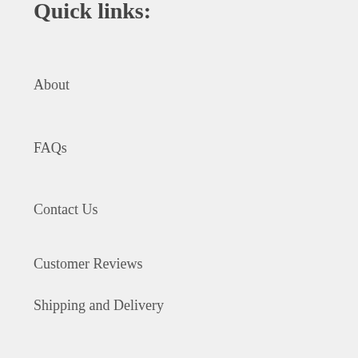Quick links:
About
FAQs
Contact Us
Customer Reviews
Shipping and Delivery
Order Tracking
Return Policy
Terms of Service